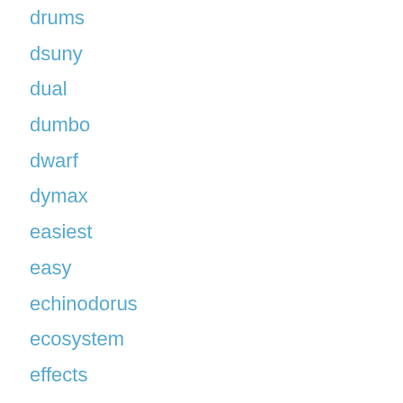drums
dsuny
dual
dumbo
dwarf
dymax
easiest
easy
echinodorus
ecosystem
effects
eichhornia
eight24hours
elegant
elephant